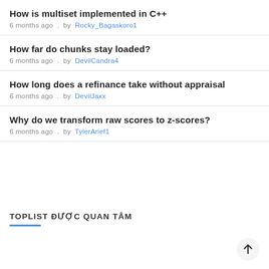How is multiset implemented in C++
6 months ago . by Rocky_Bagaskoro1
How far do chunks stay loaded?
6 months ago . by DevilCandra4
How long does a refinance take without appraisal
6 months ago . by DevilJaxx
Why do we transform raw scores to z-scores?
6 months ago . by TylerArief1
TOPLIST ĐƯỢC QUAN TÂM